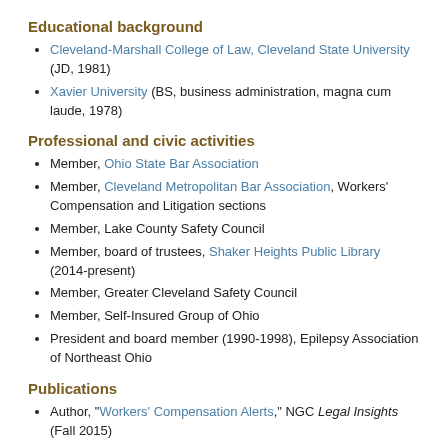Educational background
Cleveland-Marshall College of Law, Cleveland State University (JD, 1981)
Xavier University (BS, business administration, magna cum laude, 1978)
Professional and civic activities
Member, Ohio State Bar Association
Member, Cleveland Metropolitan Bar Association, Workers' Compensation and Litigation sections
Member, Lake County Safety Council
Member, board of trustees, Shaker Heights Public Library (2014-present)
Member, Greater Cleveland Safety Council
Member, Self-Insured Group of Ohio
President and board member (1990-1998), Epilepsy Association of Northeast Ohio
Publications
Author, "Workers' Compensation Alerts," NGC Legal Insights (Fall 2015)